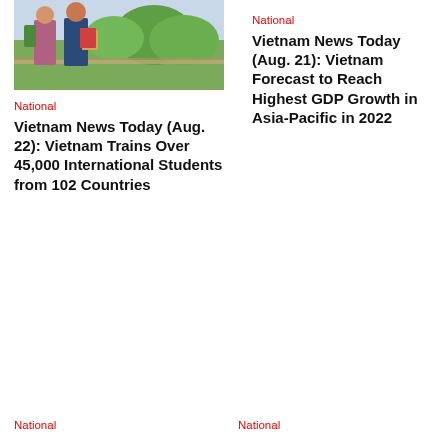[Figure (photo): Two young students (male and female) walking outdoors with books and a backpack, greenery in background]
National
Vietnam News Today (Aug. 22): Vietnam Trains Over 45,000 International Students from 102 Countries
National
Vietnam News Today (Aug. 21): Vietnam Forecast to Reach Highest GDP Growth in Asia-Pacific in 2022
National
National